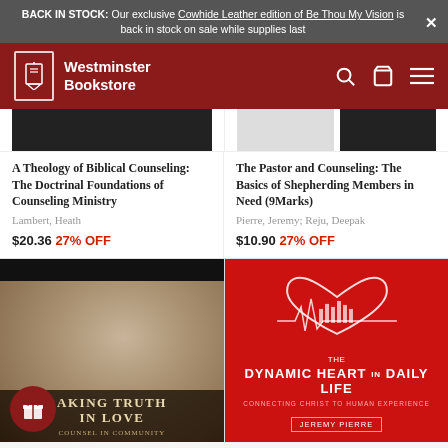BACK IN STOCK: Our exclusive Cowhide Leather edition of Be Thou My Vision is back in stock on sale while supplies last
Westminster Bookstore
A Theology of Biblical Counseling: The Doctrinal Foundations of Counseling Ministry
Lambert, Heath
$20.36 27% OFF
The Pastor and Counseling: The Basics of Shepherding Members in Need (9Marks)
Pierre, Jeremy; Reju, Deepak
$10.90 27% OFF
[Figure (photo): Book cover: Speaking Truth in Love - Counsel in Community, sepia tone close-up of a person's face]
[Figure (photo): Book cover: The Dynamic Heart in Daily Life - Connecting Christ to Human Experience by Jeremy Pierre, red cover with heart and city skyline EKG design]